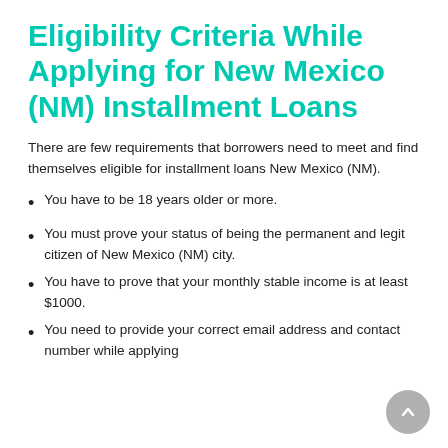Eligibility Criteria While Applying for New Mexico (NM) Installment Loans
There are few requirements that borrowers need to meet and find themselves eligible for installment loans New Mexico (NM).
You have to be 18 years older or more.
You must prove your status of being the permanent and legit citizen of New Mexico (NM) city.
You have to prove that your monthly stable income is at least $1000.
You need to provide your correct email address and contact number while applying